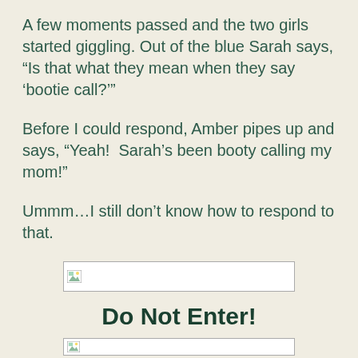A few moments passed and the two girls started giggling. Out of the blue Sarah says, “Is that what they mean when they say ‘bootie call?’”
Before I could respond, Amber pipes up and says, “Yeah!  Sarah’s been booty calling my mom!”
Ummm…I still don’t know how to respond to that.
[Figure (other): Broken image placeholder (small image icon with border)]
Do Not Enter!
[Figure (other): Broken image placeholder (small image icon with border) at bottom]